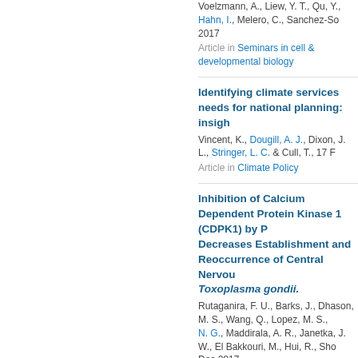Voelzmann, A., Liew, Y. T., Qu, Y., Hahn, I., Melero, C., Sanchez-So... 2017
Article in Seminars in cell & developmental biology
Identifying climate services needs for national planning: insigh...
Vincent, K., Dougill, A. J., Dixon, J. L., Stringer, L. C. & Cull, T., 17 F...
Article in Climate Policy
Inhibition of Calcium Dependent Protein Kinase 1 (CDPK1) by P... Decreases Establishment and Reoccurrence of Central Nervou... Toxoplasma gondii.
Rutaganira, F. U., Barks, J., Dhason, M. S., Wang, Q., Lopez, M. S., ..., N. G., Maddirala, A. R., Janetka, J. W., El Bakkouri, M., Hui, R., Sho... Dec 2017
Article in JOURNAL OF MEDICINAL CHEMISTRY
Inoculating Anopheles gambiae mosquitoes with beads to indu... melanization immune response
Barreaux, A. M. G., Barreaux, P., Thomas, M. B. & Koella, J. C., 2 Ja...
Article in Journal of Visualized Experiments
Investigating Climate Compatible Development Outcomes and T... Distributive Justice: Evidence from Malawi
Wood, B. T., Quinn, C. H., Stringer, L. C. & Dougill, A. J., 1 Sep 201...
Article in Environmental Management
Land degradation and climate change: building climate resilien...